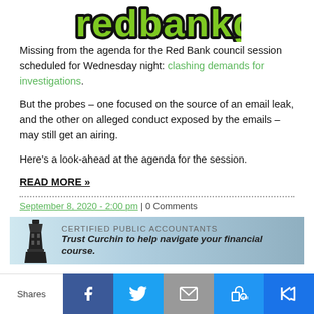[Figure (logo): redbankgreen logo in green and black graffiti-style text]
Missing from the agenda for the Red Bank council session scheduled for Wednesday night: clashing demands for investigations.
But the probes – one focused on the source of an email leak, and the other on alleged conduct exposed by the emails – may still get an airing.
Here's a look-ahead at the agenda for the session.
READ MORE »
September 8, 2020 - 2:00 pm | 0 Comments
[Figure (advertisement): Curchin Certified Public Accountants advertisement with lighthouse graphic. Text: CERTIFIED PUBLIC ACCOUNTANTS Trust Curchin to help navigate your financial course.]
Shares